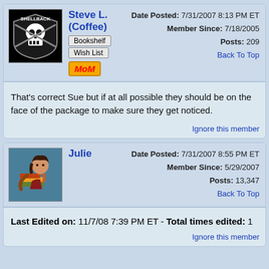Steve L. (Coffee)
Date Posted: 7/31/2007 8:13 PM ET | Member Since: 7/18/2005 | Posts: 209 | Back To Top
That's correct Sue but if at all possible they should be on the face of the package to make sure they get noticed.
Ignore this member
Julie
Date Posted: 7/31/2007 8:55 PM ET | Member Since: 5/29/2007 | Posts: 13,347 | Back To Top
Last Edited on: 11/7/08 7:39 PM ET - Total times edited: 1
Ignore this member